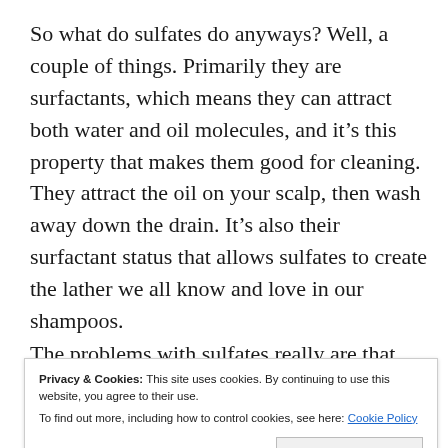So what do sulfates do anyways? Well, a couple of things. Primarily they are surfactants, which means they can attract both water and oil molecules, and it's this property that makes them good for cleaning. They attract the oil on your scalp, then wash away down the drain. It's also their surfactant status that allows sulfates to create the lather we all know and love in our shampoos.
The problems with sulfates really are that they're a bit
Privacy & Cookies: This site uses cookies. By continuing to use this website, you agree to their use.
To find out more, including how to control cookies, see here: Cookie Policy
scalp, which can leave our heads feeling dry, or even